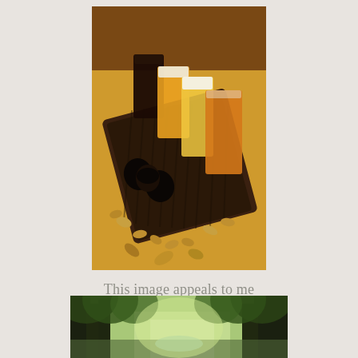[Figure (photo): A flight of four beer samples in small glasses arranged on a dark wooden flight board with peanuts scattered around, on a light wooden table surface. Beers range from dark stout to amber/orange hues.]
This image appeals to me
[Figure (photo): A forest scene with tall trees and green foliage, sunlight filtering through, with a path or stream visible in the background.]